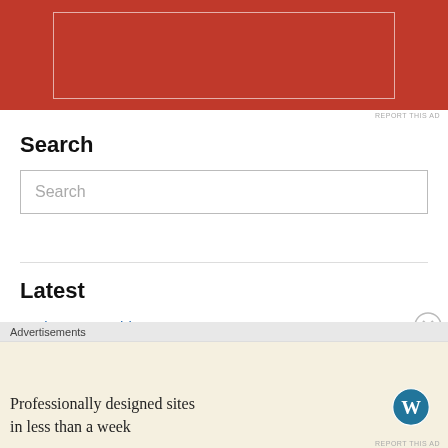[Figure (other): Red advertisement banner with inner white border outline]
REPORT THIS AD
Search
Search
Latest
Update: Something New n' Tasty
Why Write? Revisited
Still Rebelling
Advertisements
[Figure (other): WordPress advertisement: Professionally designed sites in less than a week with WordPress logo]